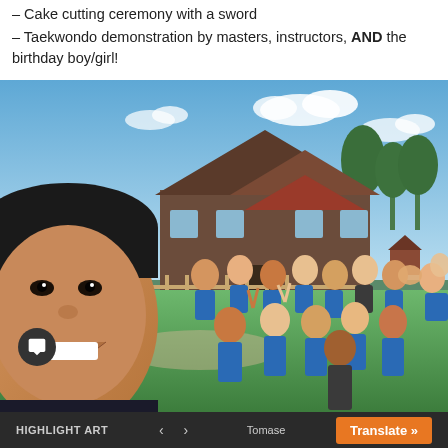– Cake cutting ceremony with a sword
– Taekwondo demonstration by masters, instructors, AND the birthday boy/girl!
[Figure (photo): Group selfie photo of a smiling Asian man in foreground with a large group of children mostly in blue shirts waving and making peace signs, taken outdoors in front of a large cabin/lodge building with green grass and blue sky in the background.]
HIGHLIGHT ART  ‹  ›  Tomase  Translate »